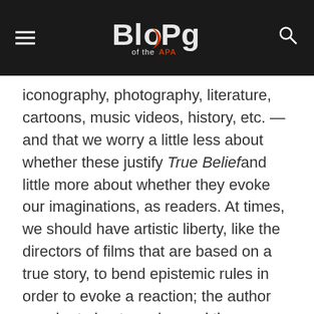Blog of the APA
iconography, photography, literature, cartoons, music videos, history, etc. — and that we worry a little less about whether these justify True Belief and little more about whether they evoke our imaginations, as readers. At times, we should have artistic liberty, like the directors of films that are based on a true story, to bend epistemic rules in order to evoke a reaction; the author may be trying to go beyond the evidence to show us something.
Being epistemically bold and risky in this way is, I believe, a part of the responsibility of intellectuals. We receive all manner of support from the public, whether it be financial assistance or the next cohort of willing volunteers in our study. As members of the